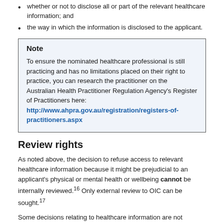whether or not to disclose all or part of the relevant healthcare information; and
the way in which the information is disclosed to the applicant.
Note

To ensure the nominated healthcare professional is still practicing and has no limitations placed on their right to practice, you can research the practitioner on the Australian Health Practitioner Regulation Agency's Register of Practitioners here: http://www.ahpra.gov.au/registration/registers-of-practitioners.aspx
Review rights
As noted above, the decision to refuse access to relevant healthcare information because it might be prejudicial to an applicant's physical or mental health or wellbeing cannot be internally reviewed.16 Only external review to OIC can be sought.17
Some decisions relating to healthcare information are not reviewable at all.18 These non-reviewable decisions are: